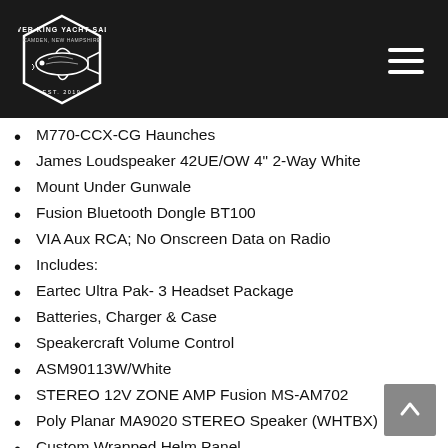[Figure (logo): Silver King Yacht Sales logo — white fish and text on dark hexagon background]
M770-CCX-CG Haunches
James Loudspeaker 42UE/OW 4" 2-Way White
Mount Under Gunwale
Fusion Bluetooth Dongle BT100
VIA Aux RCA; No Onscreen Data on Radio
Includes:
Eartec Ultra Pak- 3 Headset Package
Batteries, Charger & Case
Speakercraft Volume Control
ASM90113W/White
STEREO 12V ZONE AMP Fusion MS-AM702
Poly Planar MA9020 STEREO Speaker (WHTBX)
Custom Wrapped Helm Panel
Net:
Lumishore TIX802 EOS Color Change Underwater Light Pair with controller
Lumishore TIX802 EOS color change underwater light single